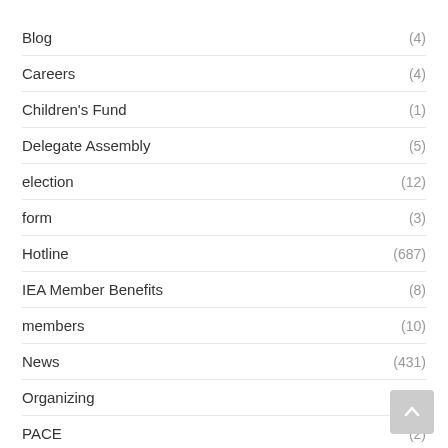Blog (4)
Careers (4)
Children's Fund (1)
Delegate Assembly (5)
election (12)
form (3)
Hotline (687)
IEA Member Benefits (8)
members (10)
News (431)
Organizing (2)
PACE (2)
Professional Development (10)
Reporter (183)
Summer Institute (4)
Uncategorized (1)